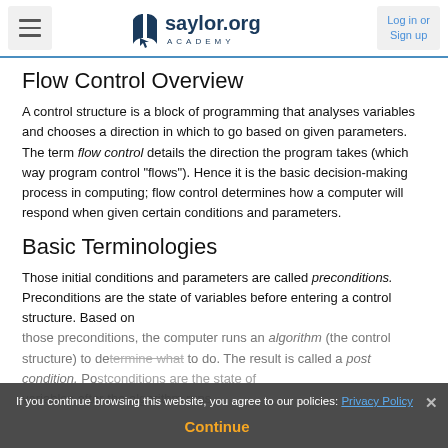saylor.org ACADEMY — Log in or Sign up
Flow Control Overview
A control structure is a block of programming that analyses variables and chooses a direction in which to go based on given parameters. The term flow control details the direction the program takes (which way program control "flows"). Hence it is the basic decision-making process in computing; flow control determines how a computer will respond when given certain conditions and parameters.
Basic Terminologies
Those initial conditions and parameters are called preconditions. Preconditions are the state of variables before entering a control structure. Based on those preconditions, the computer runs an algorithm (the control structure) to determine what to do. The result is called a post condition. Postconditions are the state of variables after the algorithm runs.
If you continue browsing this website, you agree to our policies: Privacy Policy
Continue